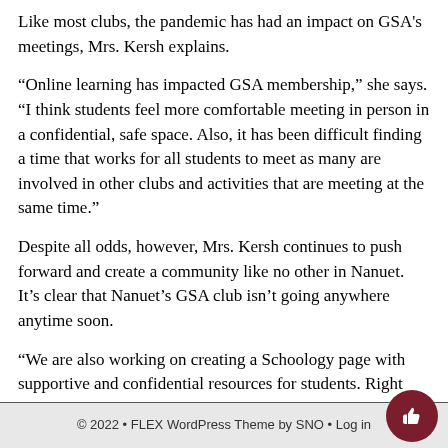Like most clubs, the pandemic has had an impact on GSA's meetings, Mrs. Kersh explains.
“Online learning has impacted GSA membership,” she says. “I think students feel more comfortable meeting in person in a confidential, safe space. Also, it has been difficult finding a time that works for all students to meet as many are involved in other clubs and activities that are meeting at the same time.”
Despite all odds, however, Mrs. Kersh continues to push forward and create a community like no other in Nanuet. It’s clear that Nanuet’s GSA club isn’t going anywhere anytime soon.
“We are also working on creating a Schoology page with supportive and confidential resources for students. Right now, we are working on encouraging more students to join so that we can hope to build connections and continue to spread more awareness about our club and its mission.”
© 2022 • FLEX WordPress Theme by SNO • Log in